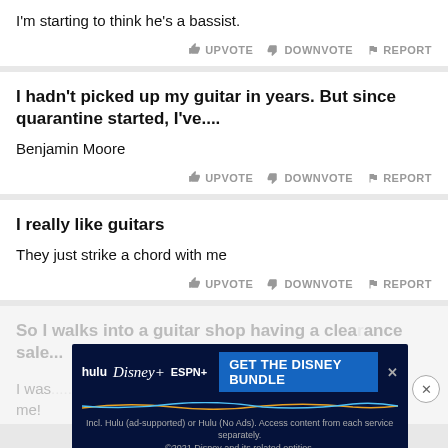I'm starting to think he's a bassist.
UPVOTE  DOWNVOTE  REPORT
I hadn't picked up my guitar in years. But since quarantine started, I've....
Benjamin Moore
UPVOTE  DOWNVOTE  REPORT
I really like guitars
They just strike a chord with me
UPVOTE  DOWNVOTE  REPORT
So I walks into a guitar shop having a clearance sale...
I was... sold out. Luckily the owner pulled some strings for me!
[Figure (screenshot): Hulu Disney+ ESPN+ GET THE DISNEY BUNDLE advertisement banner]